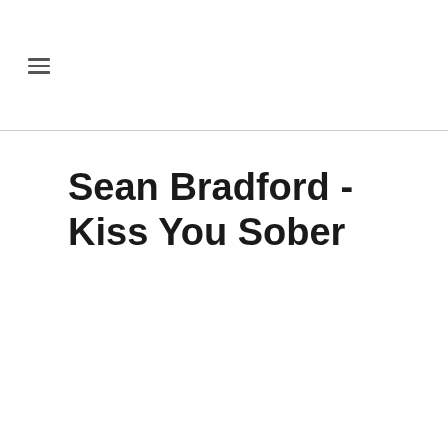☰
Sean Bradford - Kiss You Sober